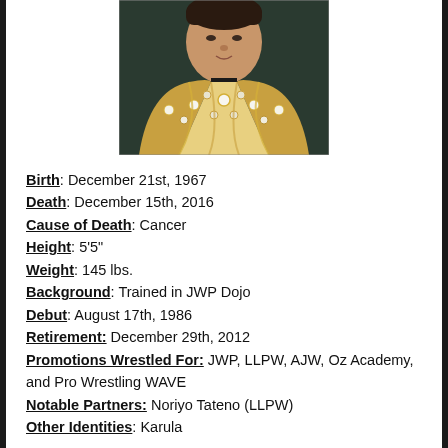[Figure (photo): Photo of a person wearing an ornate gold and white jeweled costume/robe, shown from shoulders up against a dark background.]
Birth: December 21st, 1967
Death: December 15th, 2016
Cause of Death: Cancer
Height: 5‘5’’
Weight: 145 lbs.
Background: Trained in JWP Dojo
Debut: August 17th, 1986
Retirement: December 29th, 2012
Promotions Wrestled For: JWP, LLPW, AJW, Oz Academy, and Pro Wrestling WAVE
Notable Partners: Noriyo Tateno (LLPW)
Other Identities: Karula
Championships Held: LLPW Japanese Championship, LLPW